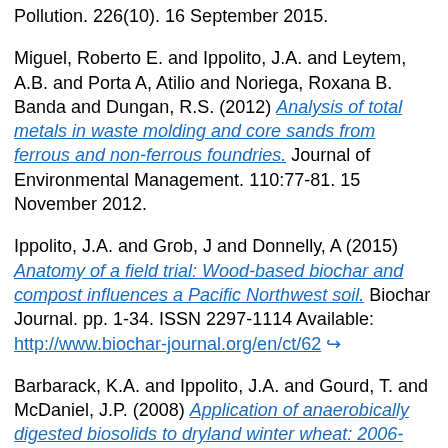Pollution. 226(10). 16 September 2015.
Miguel, Roberto E. and Ippolito, J.A. and Leytem, A.B. and Porta A, Atilio and Noriega, Roxana B. Banda and Dungan, R.S. (2012) Analysis of total metals in waste molding and core sands from ferrous and non-ferrous foundries. Journal of Environmental Management. 110:77-81. 15 November 2012.
Ippolito, J.A. and Grob, J and Donnelly, A (2015) Anatomy of a field trial: Wood-based biochar and compost influences a Pacific Northwest soil. Biochar Journal. pp. 1-34. ISSN 2297-1114 Available: http://www.biochar-journal.org/en/ct/62
Barbarack, K.A. and Ippolito, J.A. and Gourd, T. and McDaniel, J.P. (2008) Application of anaerobically digested biosolids to dryland winter wheat: 2006-2007